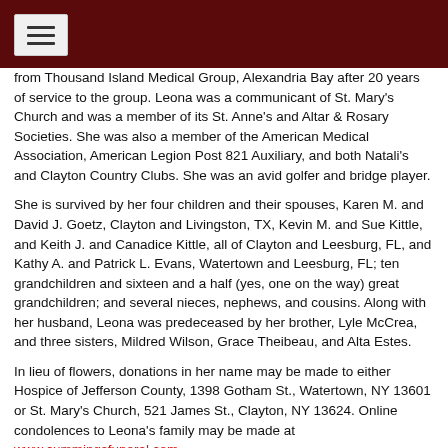[Navigation bar with menu icon]
from Thousand Island Medical Group, Alexandria Bay after 20 years of service to the group. Leona was a communicant of St. Mary's Church and was a member of its St. Anne's and Altar & Rosary Societies. She was also a member of the American Medical Association, American Legion Post 821 Auxiliary, and both Natali's and Clayton Country Clubs. She was an avid golfer and bridge player.
She is survived by her four children and their spouses, Karen M. and David J. Goetz, Clayton and Livingston, TX, Kevin M. and Sue Kittle, and Keith J. and Canadice Kittle, all of Clayton and Leesburg, FL, and Kathy A. and Patrick L. Evans, Watertown and Leesburg, FL; ten grandchildren and sixteen and a half (yes, one on the way) great grandchildren; and several nieces, nephews, and cousins. Along with her husband, Leona was predeceased by her brother, Lyle McCrea, and three sisters, Mildred Wilson, Grace Theibeau, and Alta Estes.
In lieu of flowers, donations in her name may be made to either Hospice of Jefferson County, 1398 Gotham St., Watertown, NY 13601 or St. Mary's Church, 521 James St., Clayton, NY 13624. Online condolences to Leona's family may be made at www.cummingsfuneral.com.